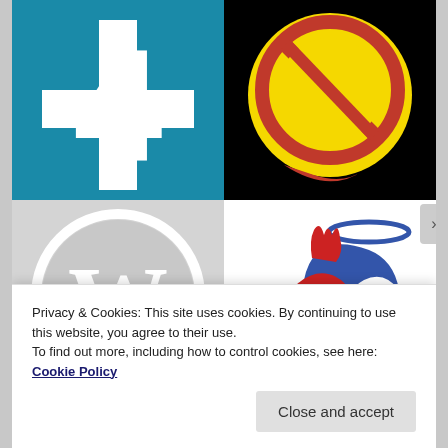[Figure (logo): Blue square logo with white number 4 and plus/cross sign]
[Figure (logo): Black background logo with yellow circle and red/brown 'no' or prohibition symbol]
[Figure (logo): Gray square with white WordPress W logo inside circle]
[Figure (logo): White background with red dragon/seahorse and blue wings illustration with halo, SM letters]
[Figure (photo): Dark photo showing partial face/person]
[Figure (logo): Teal/cyan starburst or badge shape at bottom]
Privacy & Cookies: This site uses cookies. By continuing to use this website, you agree to their use.
To find out more, including how to control cookies, see here: Cookie Policy